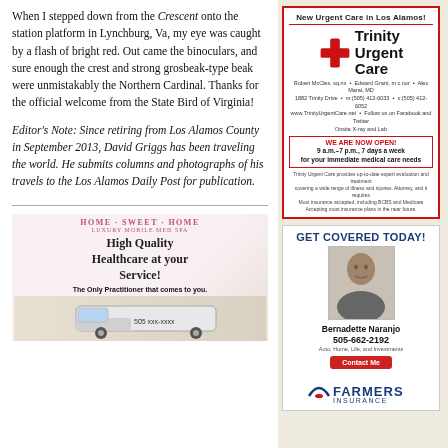When I stepped down from the Crescent onto the station platform in Lynchburg, Va, my eye was caught by a flash of bright red. Out came the binoculars, and sure enough the crest and strong grosbeak-type beak were unmistakably the Northern Cardinal. Thanks for the official welcome from the State Bird of Virginia!
Editor's Note: Since retiring from Los Alamos County in September 2013, David Griggs has been traveling the world. He submits columns and photographs of his travels to the Los Alamos Daily Post for publication.
[Figure (infographic): Home Sweet Home Luxury Mobile Med Spa advertisement with van image]
[Figure (infographic): Trinity Urgent Care advertisement with red cross logo, hours, and staff info]
[Figure (infographic): Farmers Insurance GET COVERED TODAY advertisement featuring Bernadette Naranjo, 505-662-2192]